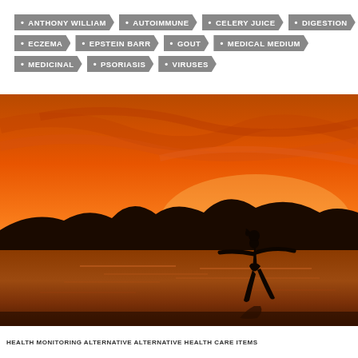ANTHONY WILLIAM
AUTOIMMUNE
CELERY JUICE
DIGESTION
ECZEMA
EPSTEIN BARR
GOUT
MEDICAL MEDIUM
MEDICINAL
PSORIASIS
VIRUSES
[Figure (photo): Silhouette of a person dancing or posing on a beach at sunset with orange and red sky, mountains in background and water reflection]
HEALTH MONITORING ALTERNATIVE ALTERNATIVE HEALTH CARE ITEMS